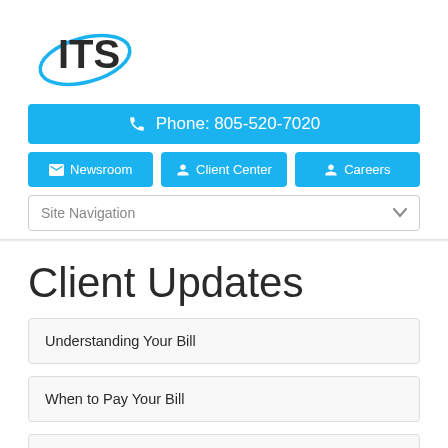[Figure (logo): ITS company logo with blue ellipse orbit around bold black text ITS]
Phone: 805-520-7020
Newsroom
Client Center
Careers
Site Navigation
Client Updates
Understanding Your Bill
When to Pay Your Bill